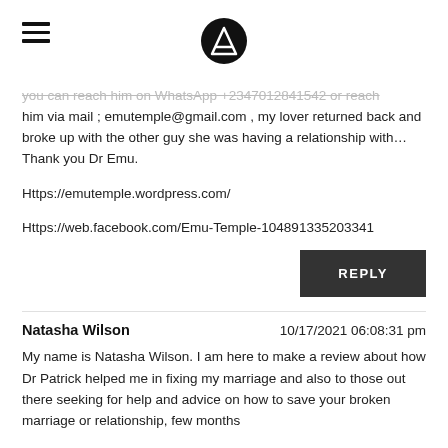[hamburger menu icon] [logo circle with triangle icon]
you can reach him on WhatsApp +2347012841542 or reach him via mail ; emutemple@gmail.com , my lover returned back and broke up with the other guy she was having a relationship with… Thank you Dr Emu.
Https://emutemple.wordpress.com/
Https://web.facebook.com/Emu-Temple-104891335203341
REPLY
Natasha Wilson    10/17/2021 06:08:31 pm
My name is Natasha Wilson. I am here to make a review about how Dr Patrick helped me in fixing my marriage and also to those out there seeking for help and advice on how to save your broken marriage or relationship, few months